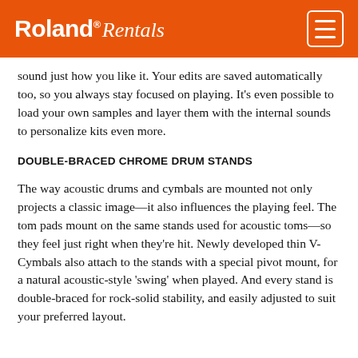Roland Rentals
sound just how you like it. Your edits are saved automatically too, so you always stay focused on playing. It’s even possible to load your own samples and layer them with the internal sounds to personalize kits even more.
DOUBLE-BRACED CHROME DRUM STANDS
The way acoustic drums and cymbals are mounted not only projects a classic image—it also influences the playing feel. The tom pads mount on the same stands used for acoustic toms—so they feel just right when they’re hit. Newly developed thin V-Cymbals also attach to the stands with a special pivot mount, for a natural acoustic-style ‘swing’ when played. And every stand is double-braced for rock-solid stability, and easily adjusted to suit your preferred layout.